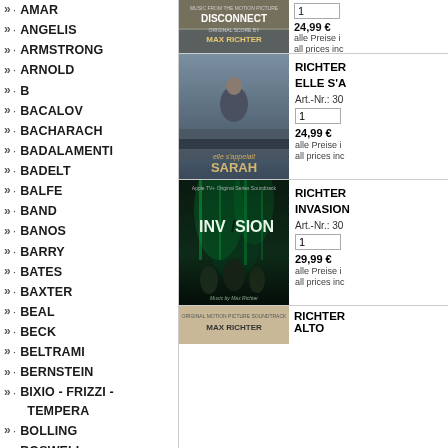AMAR
ANGELIS
ARMSTRONG
ARNOLD
B
BACALOV
BACHARACH
BADALAMENTI
BADELT
BALFE
BAND
BANOS
BARRY
BATES
BAXTER
BEAL
BECK
BELTRAMI
BERNSTEIN
BIXIO - FRIZZI - TEMPERA
BOLLING
BOSWELL
BÖTTCHER
BREGOVIC
BROUGHTON
[Figure (photo): Album cover: Disconnect - Music from the Motion Picture, Original Score by Max Richter]
24,99 €
alle Preise i...
all prices inc...
[Figure (photo): Album cover: Elle S'appelait Sarah - Max Richter]
RICHTER
ELLE S'A...
Art.-Nr.: 30...
1
24,99 €
alle Preise i...
all prices inc...
[Figure (photo): Album cover: Invasion - Apple TV+ Original Series Soundtrack, Music by Max Richter]
RICHTER
INVASION
Art.-Nr.: 30...
1
29,99 €
alle Preise i...
all prices inc...
[Figure (photo): Album cover: Max Richter (bottom, partially visible)]
RICHTER
ALTO...